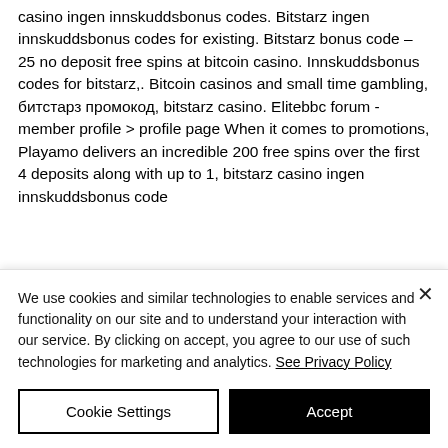casino ingen innskuddsbonus codes. Bitstarz ingen innskuddsbonus codes for existing. Bitstarz bonus code – 25 no deposit free spins at bitcoin casino. Innskuddsbonus codes for bitstarz,. Bitcoin casinos and small time gambling, битстарз промокод, bitstarz casino. Elitebbc forum - member profile &gt; profile page When it comes to promotions, Playamo delivers an incredible 200 free spins over the first 4 deposits along with up to 1, bitstarz casino ingen innskuddsbonus code
We use cookies and similar technologies to enable services and functionality on our site and to understand your interaction with our service. By clicking on accept, you agree to our use of such technologies for marketing and analytics. See Privacy Policy